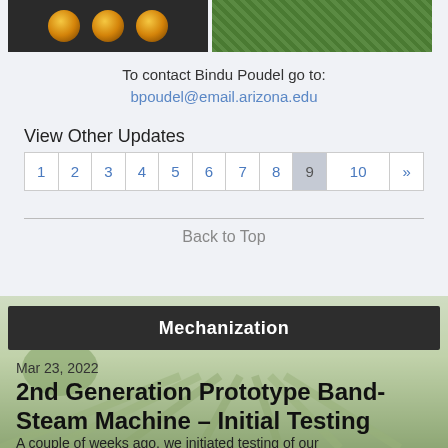[Figure (photo): Two side-by-side images: left shows petri dishes with fungal colonies on dark background; right shows dense green leafy crop field from above]
To contact Bindu Poudel go to:
bpoudel@email.arizona.edu
View Other Updates
| 1 | 2 | 3 | 4 | 5 | 6 | 7 | 8 | 9 | 10 | » |
| --- | --- | --- | --- | --- | --- | --- | --- | --- | --- | --- |
Back to Top
[Figure (photo): Agricultural field background with rows of crops, misty/foggy ambiance]
Mechanization
Mar 23, 2022
2nd Generation Prototype Band-Steam Machine – Initial Testing
A couple of weeks ago, we initiated testing of our